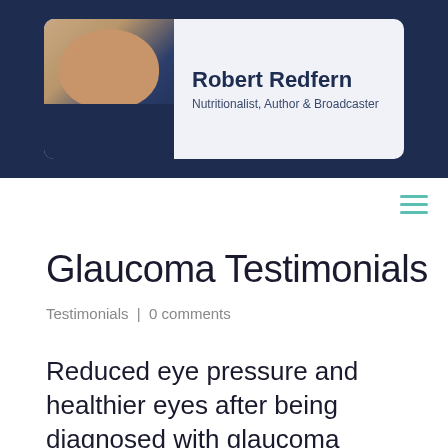[Figure (photo): Header banner with dark navy background containing a white/light blue rounded card showing a smiling middle-aged man in a dark sweater alongside bold text reading 'Robert Redfern' and subtitle 'Nutritionalist, Author & Broadcaster']
Robert Redfern
Nutritionalist, Author & Broadcaster
Glaucoma Testimonials
Testimonials | 0 comments
Reduced eye pressure and healthier eyes after being diagnosed with glaucoma